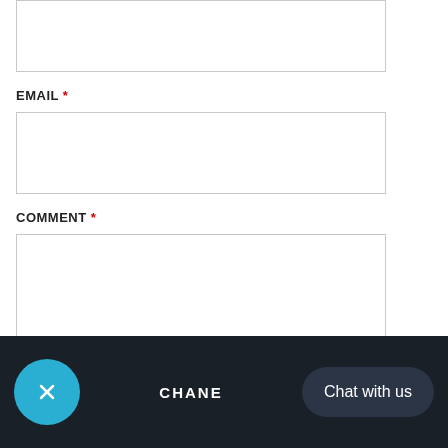[Figure (screenshot): Top text input field (partially visible, cropped at top of page)]
EMAIL *
[Figure (screenshot): Email input text field (empty, bordered box)]
COMMENT *
[Figure (screenshot): Comment textarea (empty, bordered box with resize handle)]
POST COMMENT
[Figure (screenshot): Footer bar with close button (X), CHANE brand name, and Chat with us button]